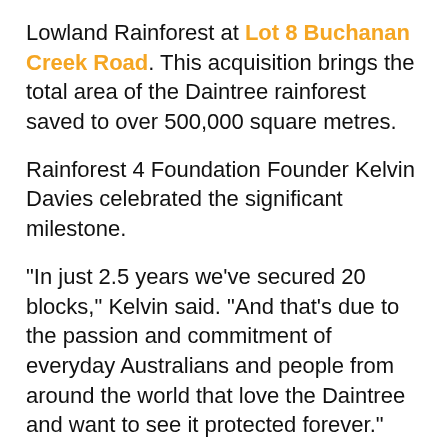Lowland Rainforest at Lot 8 Buchanan Creek Road. This acquisition brings the total area of the Daintree rainforest saved to over 500,000 square metres.
Rainforest 4 Foundation Founder Kelvin Davies celebrated the significant milestone.
"In just 2.5 years we've secured 20 blocks," Kelvin said. "And that's due to the passion and commitment of everyday Australians and people from around the world that love the Daintree and want to see it protected forever."
"I was hearing from our supporters that they wanted us to do more," Kelvin said, "so when the opportunity to purchase and protect three blocks appeared, just before the festive season, I knew our donors would jump on board."
"The...